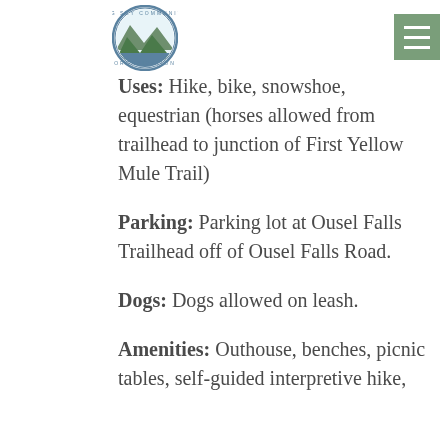Big Sky Community Organization header with logo and menu button
Uses: Hike, bike, snowshoe, equestrian (horses allowed from trailhead to junction of First Yellow Mule Trail)
Parking: Parking lot at Ousel Falls Trailhead off of Ousel Falls Road.
Dogs: Dogs allowed on leash.
Amenities: Outhouse, benches, picnic tables, self-guided interpretive hike,